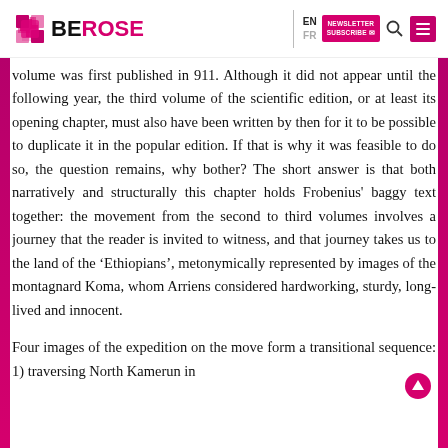BEROSE | EN FR | NEWSLETTER SUBSCRIBE | Search | Menu
volume was first published in 911. Although it did not appear until the following year, the third volume of the scientific edition, or at least its opening chapter, must also have been written by then for it to be possible to duplicate it in the popular edition. If that is why it was feasible to do so, the question remains, why bother? The short answer is that both narratively and structurally this chapter holds Frobenius' baggy text together: the movement from the second to third volumes involves a journey that the reader is invited to witness, and that journey takes us to the land of the 'Ethiopians', metonymically represented by images of the montagnard Koma, whom Arriens considered hardworking, sturdy, long-lived and innocent.
Four images of the expedition on the move form a transitional sequence: 1) traversing North Kamerun in